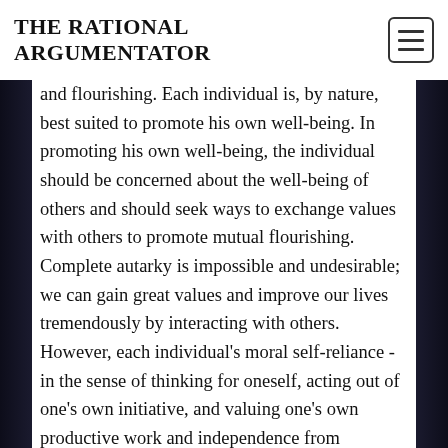THE RATIONAL ARGUMENTATOR
and flourishing. Each individual is, by nature, best suited to promote his own well-being. In promoting his own well-being, the individual should be concerned about the well-being of others and should seek ways to exchange values with others to promote mutual flourishing. Complete autarky is impossible and undesirable; we can gain great values and improve our lives tremendously by interacting with others. However, each individual's moral self-reliance - in the sense of thinking for oneself, acting out of one's own initiative, and valuing one's own productive work and independence from subjugation to the arbitrary dictates of others - is